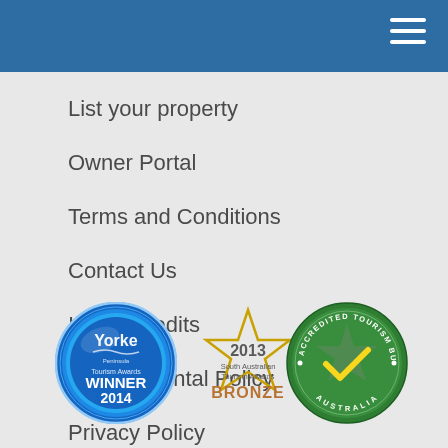List your property
Owner Portal
Terms and Conditions
Contact Us
Image credits
Environmental Policy
Privacy Policy
[Figure (logo): Yorke Peninsula Tourism Awards Winner 2014 medal badge — circular blue metallic badge with Yorke Peninsula logo and text WINNER 2014]
[Figure (logo): 2013 South Australian Tourism Awards BRONZE — gold star outline with text 2013 South Australian Tourism Awards BRONZE]
[Figure (logo): Accredited Tourism Business Australia — circular green badge with star/checkmark design and text ACCREDITED TOURISM BUSINESS AUSTRALIA]